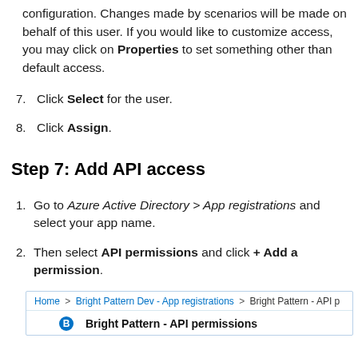configuration. Changes made by scenarios will be made on behalf of this user. If you would like to customize access, you may click on Properties to set something other than default access.
7. Click Select for the user.
8. Click Assign.
Step 7: Add API access
1. Go to Azure Active Directory > App registrations and select your app name.
2. Then select API permissions and click + Add a permission.
[Figure (screenshot): Azure portal breadcrumb showing: Home > Bright Pattern Dev - App registrations > Bright Pattern - API p... and below it a section title 'Bright Pattern - API permissions']